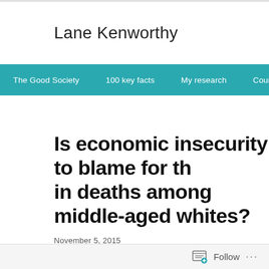Lane Kenworthy
The Good Society | 100 key facts | My research | Courses | M
Is economic insecurity to blame for th... in deaths among middle-aged whites?
November 5, 2015
Follow ...